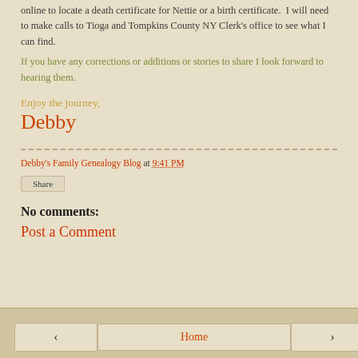online to locate a death certificate for Nettie or a birth certificate.  I will need to make calls to Tioga and Tompkins County NY Clerk's office to see what I can find.
If you have any corrections or additions or stories to share I look forward to hearing them.
Enjoy the journey,
Debby
Debby's Family Genealogy Blog at 9:41 PM
Share
No comments:
Post a Comment
< Home >